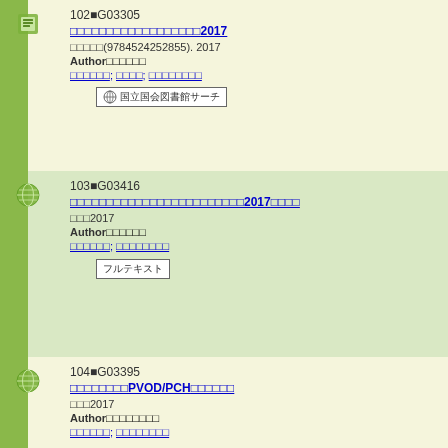102゠G03305 / タイトル2017 / 出典(9784524252855). 2017 / Author著者情報 / 著者A; 著者B; 著者C
103゠G03416 / タイトル2017年度版 / 雑誌2017 / Author著者情報 / 著者A; 著者B
104゠G03395 / タイトルPVOD/PCHタイトル / 雑誌2017 / Author著者情報 / 著者A; 著者B